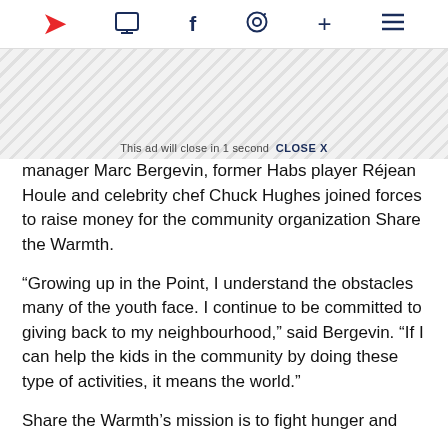CTV News navigation icons: logo, comment, facebook, whatsapp, plus, menu
[Figure (screenshot): Ad placeholder with diagonal stripe pattern and ad close notice]
manager Marc Bergevin, former Habs player Réjean Houle and celebrity chef Chuck Hughes joined forces to raise money for the community organization Share the Warmth.
“Growing up in the Point, I understand the obstacles many of the youth face. I continue to be committed to giving back to my neighbourhood,” said Bergevin. “If I can help the kids in the community by doing these type of activities, it means the world.”
Share the Warmth’s mission is to fight hunger and